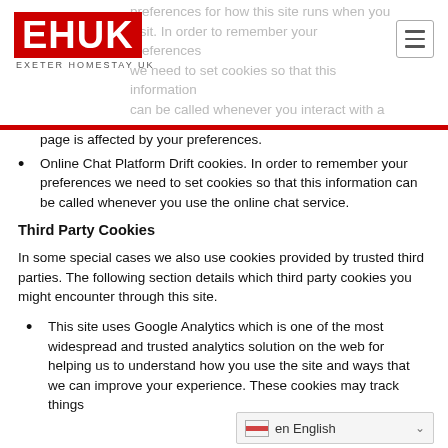EHUK EXETER HOMESTAY UK
page is affected by your preferences.
Online Chat Platform Drift cookies. In order to remember your preferences we need to set cookies so that this information can be called whenever you use the online chat service.
Third Party Cookies
In some special cases we also use cookies provided by trusted third parties. The following section details which third party cookies you might encounter through this site.
This site uses Google Analytics which is one of the most widespread and trusted analytics solution on the web for helping us to understand how you use the site and ways that we can improve your experience. These cookies may track things